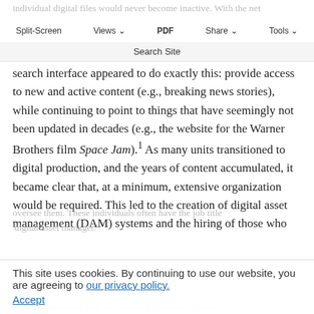individual digital files would never become inactive. With the network came the notion that all records and inactive records could be kept together and searchable from a single interface. This seemed plausible given that the Google
Split-Screen | Views | PDF | Share | Tools | Search Site
search interface appeared to do exactly this: provide access to new and active content (e.g., breaking news stories), while continuing to point to things that have seemingly not been updated in decades (e.g., the website for the Warner Brothers film Space Jam).¹ As many units transitioned to digital production, and the years of content accumulated, it became clear that, at a minimum, extensive organization would be required. This led to the creation of digital asset management (DAM) systems and the hiring of those who oversee them. These individuals often have the job title 'digital asset manager.'
This site uses cookies. By continuing to use our website, you are agreeing to our privacy policy.
Accept
Although relatively little professional literature addresses